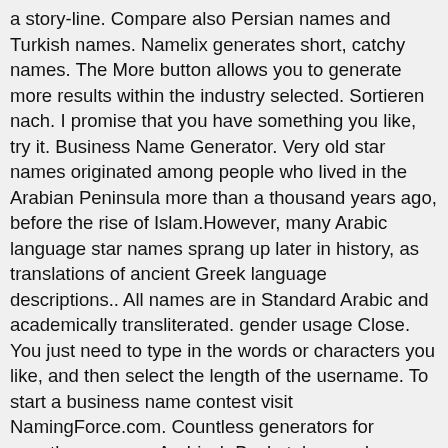a story-line. Compare also Persian names and Turkish names. Namelix generates short, catchy names. The More button allows you to generate more results within the industry selected. Sortieren nach. I promise that you have something you like, try it. Business Name Generator. Very old star names originated among people who lived in the Arabian Peninsula more than a thousand years ago, before the rise of Islam.However, many Arabic language star names sprang up later in history, as translations of ancient Greek language descriptions.. All names are in Standard Arabic and academically transliterated. gender usage Close. You just need to type in the words or characters you like, and then select the length of the username. To start a business name contest visit NamingForce.com. Countless generators for countless names. Arabisch Buchstaben und Schriftarten Symbole & Emoji. The business name generator is free for everyone to use and you can run as many searches as you please. The most advanced name generator. Select filters then press SEARCH below + Gender. Restaurant name generator. Click